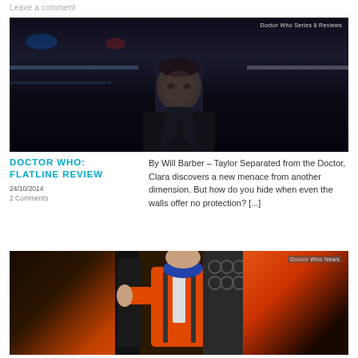Leave a comment
[Figure (photo): Dark sci-fi interior scene with a person visible. Tag reads 'Doctor Who Series 8 Reviews']
DOCTOR WHO: FLATLINE REVIEW
24/10/2014
2 Comments
By Will Barber – Taylor Separated from the Doctor, Clara discovers a new menace from another dimension. But how do you hide when even the walls offer no protection? [...]
[Figure (photo): Person in orange spacesuit leaning against a wall. Tag reads 'Doctor Who News']